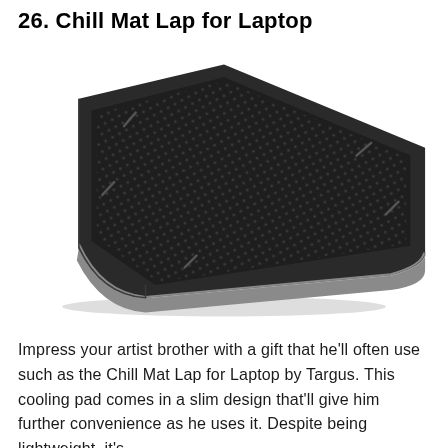26. Chill Mat Lap for Laptop
[Figure (photo): A Targus Chill Mat Lap for Laptop cooling pad, shown in a perspective/isometric view. The device is a slim, dark charcoal/black rectangular pad with a mesh top surface, rounded front edge with a silver/grey curved edge guard, and visible ventilation slot marks on the surface. The background is white.]
Impress your artist brother with a gift that he'll often use such as the Chill Mat Lap for Laptop by Targus. This cooling pad comes in a slim design that'll give him further convenience as he uses it. Despite being lightweight, it's